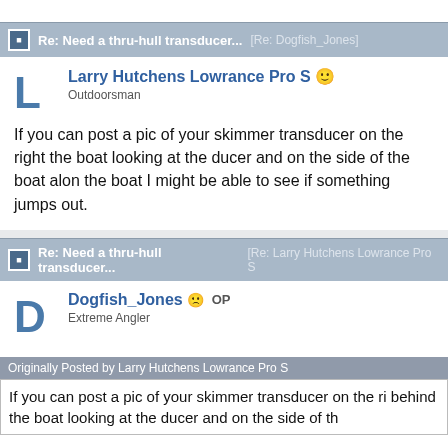Re: Need a thru-hull transducer... [Re: Dogfish_Jones]
Larry Hutchens Lowrance Pro S
Outdoorsman
If you can post a pic of your skimmer transducer on the right the boat looking at the ducer and on the side of the boat alon the boat I might be able to see if something jumps out.
Re: Need a thru-hull transducer... [Re: Larry Hutchens Lowrance Pro S]
Dogfish_Jones OP
Extreme Angler
Originally Posted by Larry Hutchens Lowrance Pro S
If you can post a pic of your skimmer transducer on the ri behind the boat looking at the ducer and on the side of th